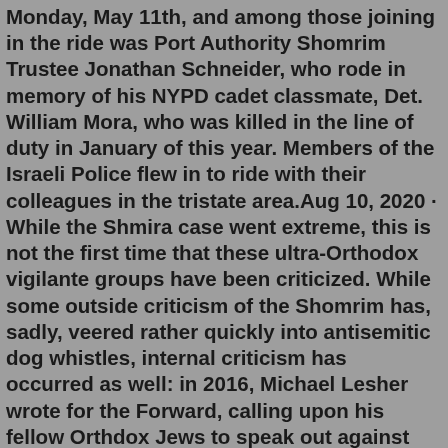Monday, May 11th, and among those joining in the ride was Port Authority Shomrim Trustee Jonathan Schneider, who rode in memory of his NYPD cadet classmate, Det. William Mora, who was killed in the line of duty in January of this year. Members of the Israeli Police flew in to ride with their colleagues in the tristate area.Aug 10, 2020 · While the Shmira case went extreme, this is not the first time that these ultra-Orthodox vigilante groups have been criticized. While some outside criticism of the Shomrim has, sadly, veered rather quickly into antisemitic dog whistles, internal criticism has occurred as well: in 2016, Michael Lesher wrote for the Forward, calling upon his fellow Orthdox Jews to speak out against the Shomrim ... Last weekend, Israel recorded 44 coronavirus deaths, most among older adults. Nine of the deceased were residents of assisted living facilities - a high number considering their relatively small proportion of the general public. One million Israelis are aged 65 and over and most of them live at home.The Shomrim Society of Maryland was